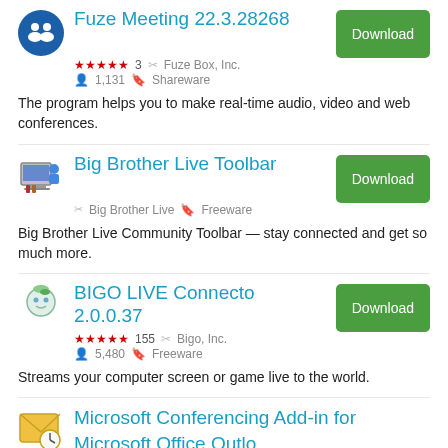Fuze Meeting 22.3.28268 — ★★★★★ 3 · Fuze Box, Inc. · 1,131 · Shareware — Download — The program helps you to make real-time audio, video and web conferences.
Big Brother Live Toolbar — Big Brother Live · Freeware — Download — Big Brother Live Community Toolbar — stay connected and get so much more.
BIGO LIVE Connecto 2.0.0.37 — ★★★★★ 155 · Bigo, Inc. · 5,480 · Freeware — Download — Streams your computer screen or game live to the world.
Microsoft Conferencing Add-in for Microsoft Office Outlook (partial)